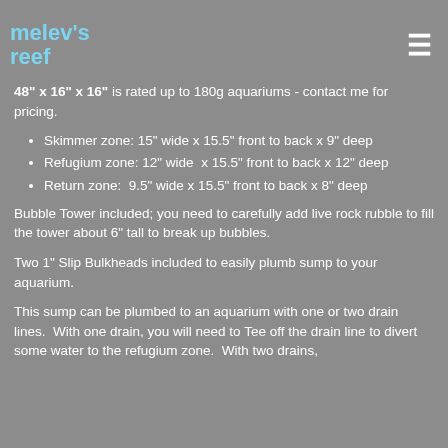melev's reef
48" x 16" x 16" is rated up to 180g aquariums - contact me for pricing.
Skimmer zone: 15" wide x 15.5" front to back x 9" deep
Refugium zone: 12" wide  x 15.5" front to back x 12" deep
Return zone:  9.5" wide x 15.5" front to back x 8" deep
Bubble Tower included; you need to carefully add live rock rubble to fill the tower about 6" tall to break up bubbles.
Two 1" Slip Bulkheads included to easily plumb sump to your aquarium.
This sump can be plumbed to an aquarium with one or two drain lines.  With one drain, you will need to Tee off the drain line to divert some water to the refugium zone.  With two drains,